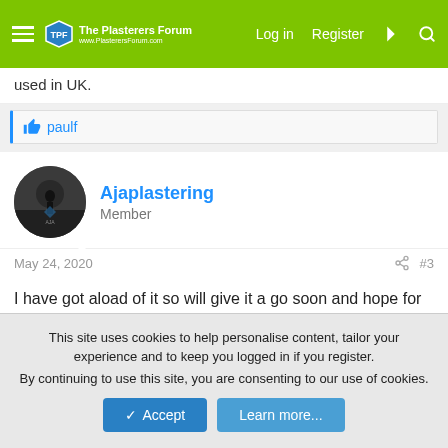The Plasterers Forum — Log in | Register
used in UK.
👍 paulf
Ajaplastering
Member
May 24, 2020   #3
I have got aload of it so will give it a go soon and hope for the beat I guess
👍 Vincey
This site uses cookies to help personalise content, tailor your experience and to keep you logged in if you register.
By continuing to use this site, you are consenting to our use of cookies.